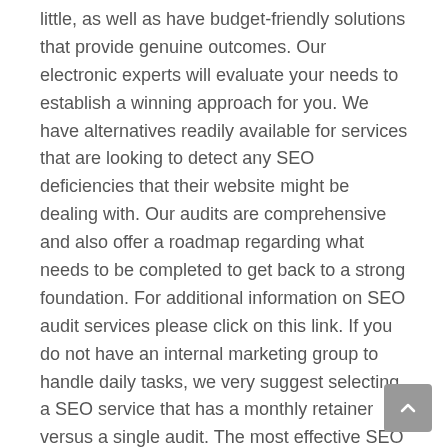little, as well as have budget-friendly solutions that provide genuine outcomes. Our electronic experts will evaluate your needs to establish a winning approach for you. We have alternatives readily available for services that are looking to detect any SEO deficiencies that their website might be dealing with. Our audits are comprehensive and also offer a roadmap regarding what needs to be completed to get back to a strong foundation. For additional information on SEO audit services please click on this link. If you do not have an internal marketing group to handle daily tasks, we very suggest selecting a SEO service that has a monthly retainer versus a single audit. The most effective SEO firms are the ones focused on the high quality of web links versus the quantity of web links.
That's why we have actually assembled a listing of the most effective SEO business and SEO service providers in the market, which includes info regarding the firm's